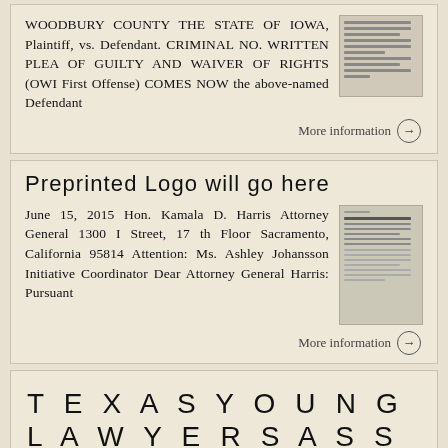WOODBURY COUNTY THE STATE OF IOWA, Plaintiff, vs. Defendant. CRIMINAL NO. WRITTEN PLEA OF GUILTY AND WAIVER OF RIGHTS (OWI First Offense) COMES NOW the above-named Defendant
More information →
Preprinted Logo will go here
June 15, 2015 Hon. Kamala D. Harris Attorney General 1300 I Street, 17 th Floor Sacramento, California 95814 Attention: Ms. Ashley Johansson Initiative Coordinator Dear Attorney General Harris: Pursuant
More information →
T E X A S Y O U N G L A W Y E R S A S S O C I A T I O N A N D S T A T E B A R O F T E X A S G U I D E T O C O U R T